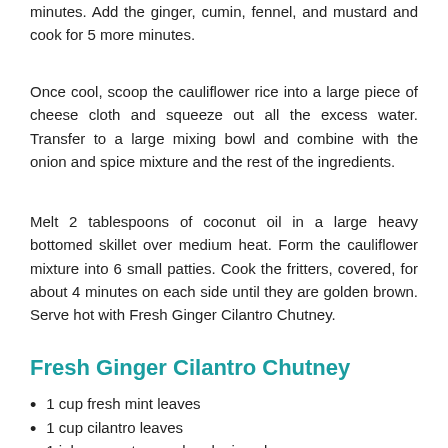minutes. Add the ginger, cumin, fennel, and mustard and cook for 5 more minutes.
Once cool, scoop the cauliflower rice into a large piece of cheese cloth and squeeze out all the excess water. Transfer to a large mixing bowl and combine with the onion and spice mixture and the rest of the ingredients.
Melt 2 tablespoons of coconut oil in a large heavy bottomed skillet over medium heat. Form the cauliflower mixture into 6 small patties. Cook the fritters, covered, for about 4 minutes on each side until they are golden brown. Serve hot with Fresh Ginger Cilantro Chutney.
Fresh Ginger Cilantro Chutney
1 cup fresh mint leaves
1 cup cilantro leaves
1 jalapeno, stemmed and minced